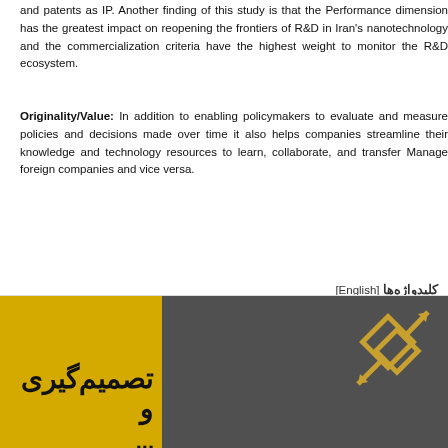and patents as IP. Another finding of this study is that the Performance dimension has the greatest impact on reopening the frontiers of R&D in Iran's nanotechnology and the commercialization criteria have the highest weight to monitor the R&D ecosystem.
Originality/Value: In addition to enabling policymakers to evaluate and measure policies and decisions made over time it also helps companies streamline their knowledge and technology resources to learn, collaborate, and transfer Manage foreign companies and vice versa.
کلیدواژه‌ها [English]
Mixed approach
Open research and development
Research and development ecosystem
+ مراجع
[Figure (other): Bottom banner split into two panels: left yellow panel with Persian text 'تصمیم‌گیری و' in bold black, right dark gray panel with a geometric golden logo/icon.]